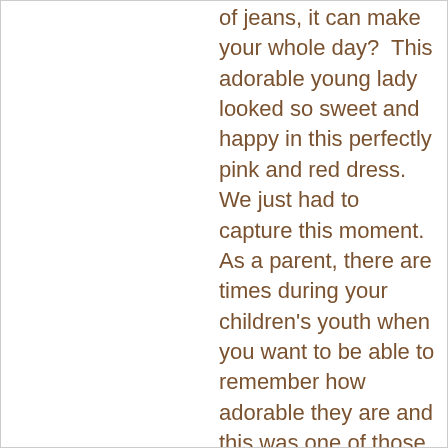of jeans, it can make your whole day?  This adorable young lady looked so sweet and happy in this perfectly pink and red dress.  We just had to capture this moment.  As a parent, there are times during your children's youth when you want to be able to remember how adorable they are and this was one of those times.  It was around Valentines Day when we photographed these images (hence the jewelry and hearts!)  and Mom wanted to capture that feeling –  when she saw her daughters smile in the most perfect little dress.  Transforming you back to those special moments –  PRICELESS!